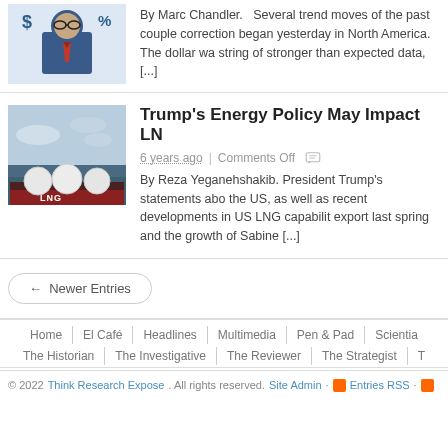[Figure (illustration): Illustration of a suited figure with dollar sign and percent sign, representing financial markets]
By Marc Chandler. Several trend moves of the past couple correction began yesterday in North America. The dollar wa string of stronger than expected data, [...]
[Figure (photo): Photo of an LNG tanker ship on water with LNG written on the hull]
Trump's Energy Policy May Impact LN
6 years ago | Comments Off
By Reza Yeganehshakib. President Trump's statements abo the US, as well as recent developments in US LNG capabilit export last spring and the growth of Sabine [...]
← Newer Entries
Home | El Café | Headlines | Multimedia | Pen & Pad | Scientia | The Historian | The Investigative | The Reviewer | The Strategist | T
© 2022 Think Research Expose . All rights reserved. Site Admin · Entries RSS ·